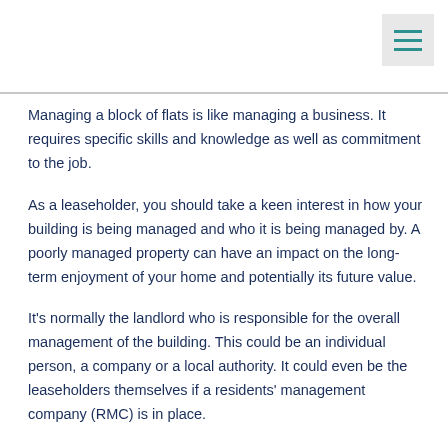[Figure (other): Hamburger menu icon button with three teal horizontal lines on a light grey background, positioned in the top-right corner]
Managing a block of flats is like managing a business. It requires specific skills and knowledge as well as commitment to the job.
As a leaseholder, you should take a keen interest in how your building is being managed and who it is being managed by. A poorly managed property can have an impact on the long-term enjoyment of your home and potentially its future value.
It's normally the landlord who is responsible for the overall management of the building. This could be an individual person, a company or a local authority. It could even be the leaseholders themselves if a residents' management company (RMC) is in place.